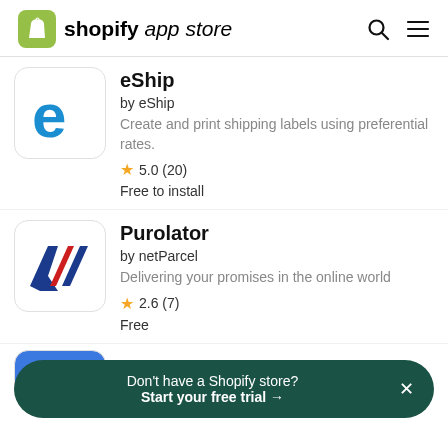shopify app store
[Figure (logo): eShip app icon: blue letter e on white background with rounded square border]
eShip
by eShip
Create and print shipping labels using preferential rates.
★ 5.0 (20)
Free to install
[Figure (logo): Purolator app icon: red and blue diagonal stripes on white background]
Purolator
by netParcel
Delivering your promises in the online world
★ 2.6 (7)
Free
by WooShip
Don't have a Shopify store? Start your free trial →